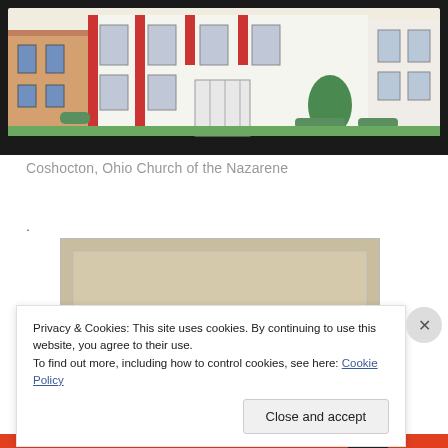[Figure (photo): Illustrated model of Coshocton, Ohio Church of the Nazarene building on dark background]
Coshocton, Ohio Church of the Nazarene
.
[Figure (photo): Old photograph of a church building, partially visible, showing a dark silhouette of a domed or rounded structure]
Privacy & Cookies: This site uses cookies. By continuing to use this website, you agree to their use.
To find out more, including how to control cookies, see here: Cookie Policy
Close and accept